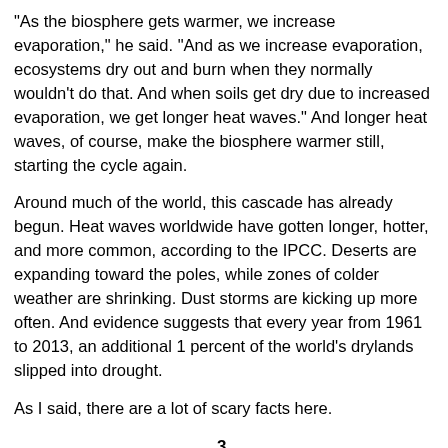“As the biosphere gets warmer, we increase evaporation,” he said. “And as we increase evaporation, ecosystems dry out and burn when they normally wouldn't do that. And when soils get dry due to increased evaporation, we get longer heat waves.” And longer heat waves, of course, make the biosphere warmer still, starting the cycle again.
Around much of the world, this cascade has already begun. Heat waves worldwide have gotten longer, hotter, and more common, according to the IPCC. Deserts are expanding toward the poles, while zones of colder weather are shrinking. Dust storms are kicking up more often. And evidence suggests that every year from 1961 to 2013, an additional 1 percent of the world’s drylands slipped into drought.
As I said, there are a lot of scary facts here.
3.
Yet one fact—maybe the most important idea in the report—didn't frighten me so much as leave me awestruck. It comes early in the document: “People currently use one quarter to one third of land’s potential net primary production for food, feed, fiber, timber and energy.”